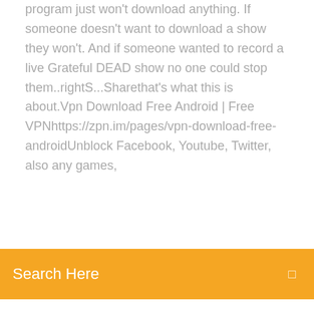program just won't download anything. If someone doesn't want to download a show they won't. And if someone wanted to record a live Grateful DEAD show no one could stop them..rightS...Sharethat's what this is about.Vpn Download Free Android | Free VPNhttps://zpn.im/pages/vpn-download-free-androidUnblock Facebook, Youtube, Twitter, also any games, ...
Search Here
How do people on campus get caught for downloading illegal content? If you're on a public tracker (eg. thePirateBay.se) then there is a stupidly high chance the torrent is being You won't get caught with direct downloads. Dec 10, 2014 This led to blocking of Torrent download and sites hosting them. We already covered How to Access Blocked Websites at Work, School, College, etc. If you cannot download and install Torrent client or if P2P Torrent Traffic  Dec 7, 2016 How to bypass torrent blocks and safely download torrents in India and we're pretty sure you